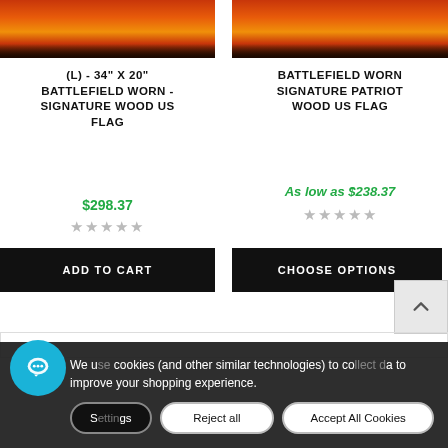[Figure (photo): Product image of Battlefield Worn Signature Wood US Flag (L) - 34 x 20 inches, showing reddish-orange fire/wood texture]
(L) - 34" X 20" BATTLEFIELD WORN - SIGNATURE WOOD US FLAG
$298.37
[Figure (photo): Product image of Battlefield Worn Signature Patriot Wood US Flag, showing reddish-orange fire/wood texture]
BATTLEFIELD WORN SIGNATURE PATRIOT WOOD US FLAG
As low as $238.37
ADD TO CART
CHOOSE OPTIONS
We use cookies (and other similar technologies) to collect data to improve your shopping experience.
Settings
Reject all
Accept All Cookies